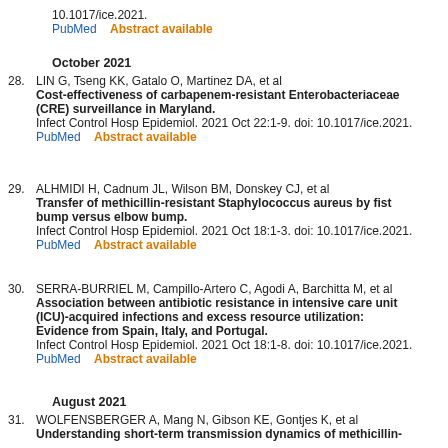10.1017/ice.2021.
PubMed    Abstract available
October 2021
28. LIN G, Tseng KK, Gatalo O, Martinez DA, et al Cost-effectiveness of carbapenem-resistant Enterobacteriaceae (CRE) surveillance in Maryland. Infect Control Hosp Epidemiol. 2021 Oct 22:1-9. doi: 10.1017/ice.2021. PubMed    Abstract available
29. ALHMIDI H, Cadnum JL, Wilson BM, Donskey CJ, et al Transfer of methicillin-resistant Staphylococcus aureus by fist bump versus elbow bump. Infect Control Hosp Epidemiol. 2021 Oct 18:1-3. doi: 10.1017/ice.2021. PubMed    Abstract available
30. SERRA-BURRIEL M, Campillo-Artero C, Agodi A, Barchitta M, et al Association between antibiotic resistance in intensive care unit (ICU)-acquired infections and excess resource utilization: Evidence from Spain, Italy, and Portugal. Infect Control Hosp Epidemiol. 2021 Oct 18:1-8. doi: 10.1017/ice.2021. PubMed    Abstract available
August 2021
31. WOLFENSBERGER A, Mang N, Gibson KE, Gontjes K, et al Understanding short-term transmission dynamics of methicillin-